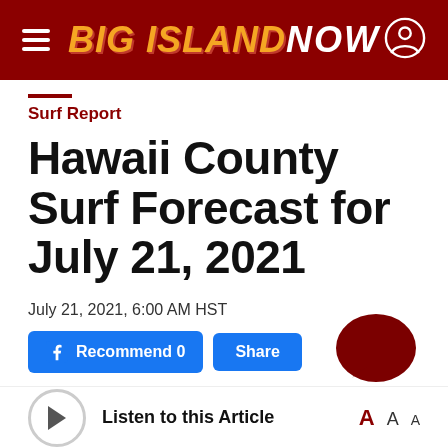BIG ISLAND NOW
Surf Report
Hawaii County Surf Forecast for July 21, 2021
July 21, 2021, 6:00 AM HST
Recommend 0   Share
Listen to this Article